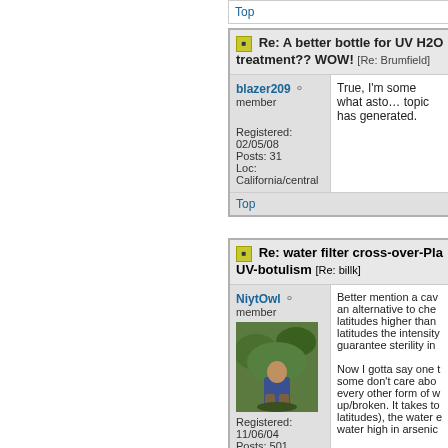Top
Re: A better bottle for UV H2O treatment?? WOW! [Re: Brumfield]
blazer209 member
Registered: 02/05/08
Posts: 31
Loc: California/central
True, I'm some what astonished by the interest this topic has generated.
Top
Re: water filter cross-over-Pla UV-botulism [Re: billk]
NiytOwl member
Registered: 11/06/04
Posts: 501
Better mention a cav an alternative to che latitudes higher than latitudes the intensity guarantee sterility in

Now I gotta say one t some don't care abo every other form of w up/broken. It takes to latitudes), the water e water high in arsenic